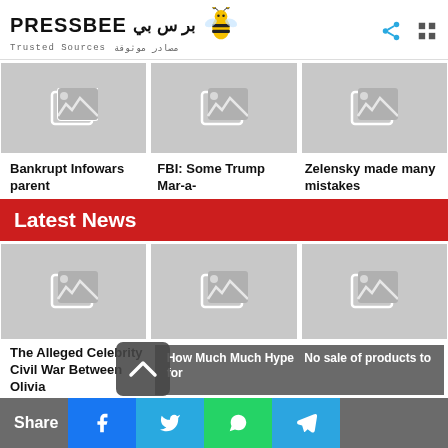PRESSBEE بر س بي — Trusted Sources مصادر موثوقة
[Figure (photo): Three image placeholder cards in a row at top]
Bankrupt Infowars parent
FBI: Some Trump Mar-a-
Zelensky made many mistakes
Latest News
[Figure (photo): Three image placeholder cards in a row below Latest News banner]
The Alleged Celebrity Civil War Between Olivia
How Much Much Hype for
No sale of products to